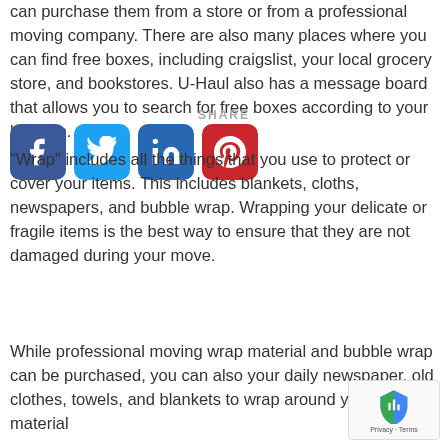can purchase them from a store or from a professional moving company. There are also many places where you can find free boxes, including craigslist, your local grocery store, and bookstores. U-Haul also has a message board that allows you to search for free boxes according to your location.
[Figure (infographic): Social share bar with SHARE label and four buttons: Facebook, Twitter, LinkedIn, Pinterest]
“Wrap” includes all the things that you use to protect or cover your items. This includes blankets, cloths, newspapers, and bubble wrap. Wrapping your delicate or fragile items is the best way to ensure that they are not damaged during your move.
While professional moving wrap material and bubble wrap can be purchased, you can also your daily newspaper, old clothes, towels, and blankets to wrap around your fragile material